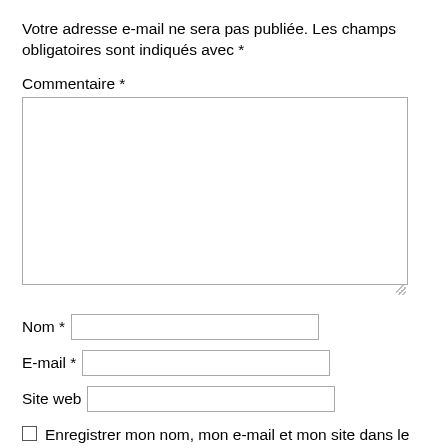Votre adresse e-mail ne sera pas publiée. Les champs obligatoires sont indiqués avec *
Commentaire *
[Figure (other): Large text area input field for comment]
Nom *
[Figure (other): Text input field for name]
E-mail *
[Figure (other): Text input field for email]
Site web
[Figure (other): Text input field for website]
Enregistrer mon nom, mon e-mail et mon site dans le navigateur pour mon prochain commentaire.
Laisser un commentaire